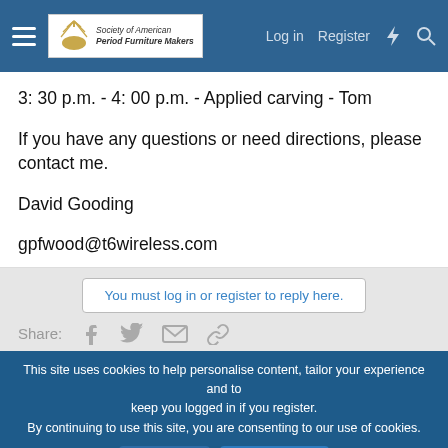Society of American Period Furniture Makers — Log in | Register
3: 30 p.m. - 4: 00 p.m. - Applied carving - Tom
If you have any questions or need directions, please contact me.
David Gooding
gpfwood@t6wireless.com
You must log in or register to reply here.
Share:
This site uses cookies to help personalise content, tailor your experience and to keep you logged in if you register.
By continuing to use this site, you are consenting to our use of cookies.